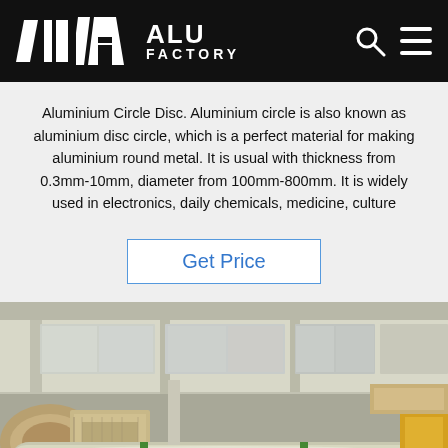ALU FACTORY
Aluminium Circle Disc. Aluminium circle is also known as aluminium disc circle, which is a perfect material for making aluminium round metal. It is usual with thickness from 0.3mm-10mm, diameter from 100mm-800mm. It is widely used in electronics, daily chemicals, medicine, culture
Get Price
[Figure (photo): Interior of an aluminium factory showing large rolls of aluminium sheet metal stored in a warehouse with high ceilings and industrial lighting.]
Home  Skype  E-Mail  Inquiry